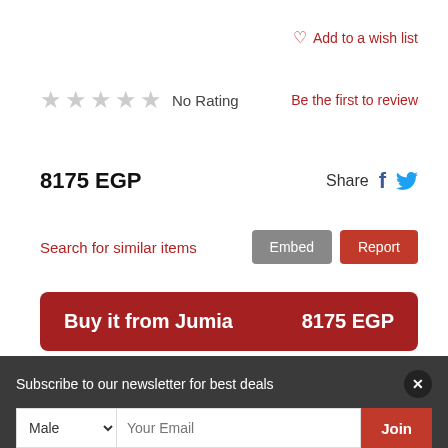♡ Add to a wish list
★★★★★ No Rating
Be the first to review
8175 EGP
Share f 🐦
Search for similar items
Embed
Report
Buy it from Jumia    8175 EGP
Subscribe to our newsletter for best deals
Male  Your Email  Join